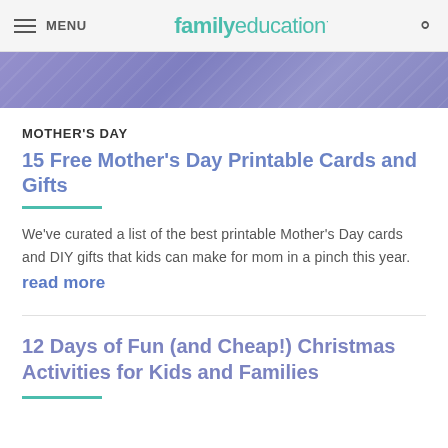MENU | familyeducation
[Figure (illustration): Purple/lavender diagonal-striped banner image]
MOTHER'S DAY
15 Free Mother's Day Printable Cards and Gifts
We've curated a list of the best printable Mother's Day cards and DIY gifts that kids can make for mom in a pinch this year. read more
12 Days of Fun (and Cheap!) Christmas Activities for Kids and Families